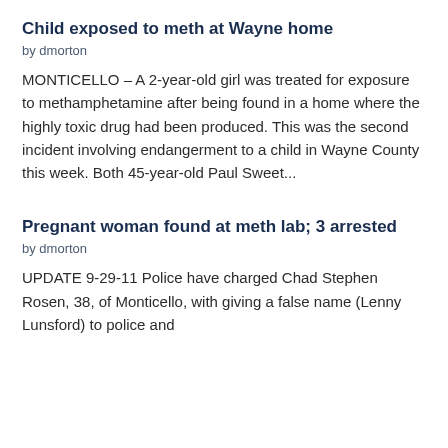Child exposed to meth at Wayne home
by dmorton
MONTICELLO – A 2-year-old girl was treated for exposure to methamphetamine after being found in a home where the highly toxic drug had been produced. This was the second incident involving endangerment to a child in Wayne County this week. Both 45-year-old Paul Sweet...
Pregnant woman found at meth lab; 3 arrested
by dmorton
UPDATE 9-29-11 Police have charged Chad Stephen Rosen, 38, of Monticello, with giving a false name (Lenny Lunsford) to police and